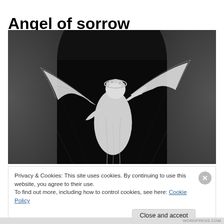Angel of sorrow
[Figure (photo): Black and white photograph of a marble angel statue with wings spread, photographed from below against a dark arched alcove background.]
Privacy & Cookies: This site uses cookies. By continuing to use this website, you agree to their use.
To find out more, including how to control cookies, see here: Cookie Policy
Close and accept